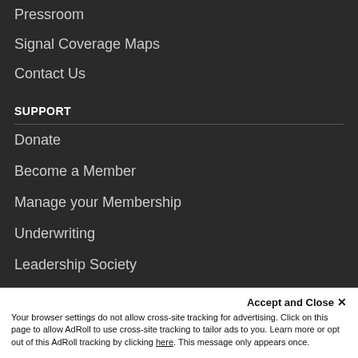Pressroom
Signal Coverage Maps
Contact Us
SUPPORT
Donate
Become a Member
Manage your Membership
Underwriting
Leadership Society
Donate a Car
Volunteer
Accept and Close ✕
Your browser settings do not allow cross-site tracking for advertising. Click on this page to allow AdRoll to use cross-site tracking to tailor ads to you. Learn more or opt out of this AdRoll tracking by clicking here. This message only appears once.